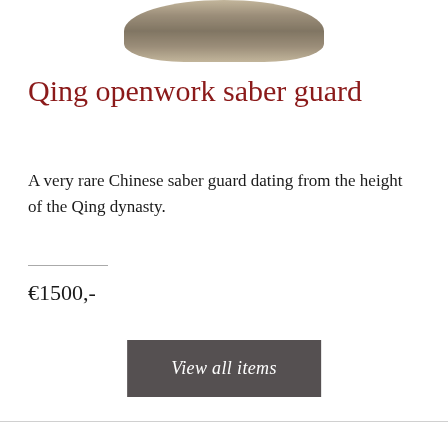[Figure (photo): Partial view of a Qing dynasty openwork saber guard, showing ornate bronze/metal decorative top portion against white background]
Qing openwork saber guard
A very rare Chinese saber guard dating from the height of the Qing dynasty.
€1500,-
View all items